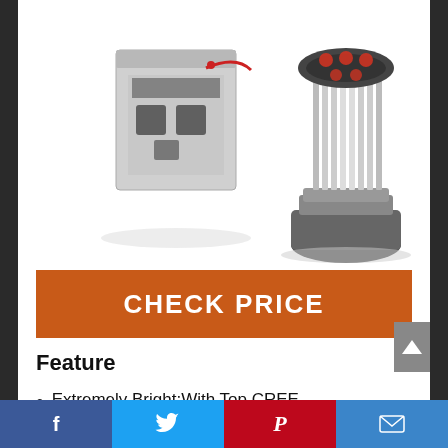[Figure (photo): LED headlight bulbs product photo — two silver LED bulbs with heat sink fins on a white background, shown in a package box]
CHECK PRICE
Feature
Extremely Bright:With Top CREE Chips@6500K cool white light,combined total of up to 4700Lux 5000 Lumens per bulb,make our headlight brighter
Social share bar: Facebook, Twitter, Pinterest, Email